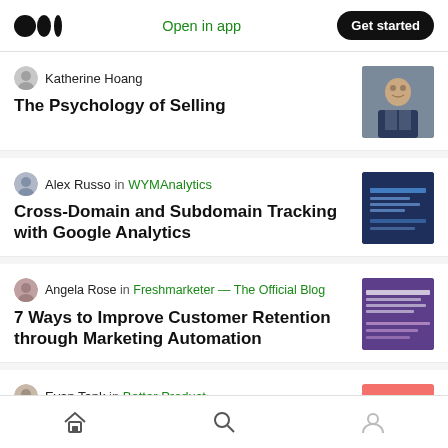Medium app header with logo, Open in app, Get started button
Katherine Hoang — The Psychology of Selling
Alex Russo in WYMAnalytics — Cross-Domain and Subdomain Tracking with Google Analytics
Angela Rose in Freshmarketer — The Official Blog — 7 Ways to Improve Customer Retention through Marketing Automation
Evan Tank in Better Product — Creating a Modern Free Trial with
Home | Search | Profile navigation icons